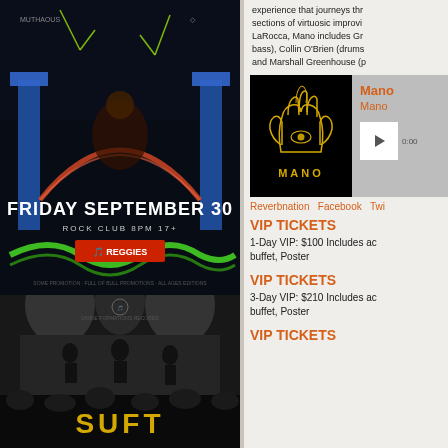[Figure (illustration): Concert poster: Friday September 30, Rock Club 8PM 17+, Reggies. Dark background with illustrated figures, blue pillars, and green snake/serpent motif at bottom.]
[Figure (photo): Black and white concert photo of a band performing on stage with audience in foreground. Text 'SUFT' and 'CHICAGO' at bottom in gold lettering.]
experience that journeys through sections of virtuosic improvi... LaRocca, Mano includes Gr... bass), Collin O'Brien (drums... and Marshall Greenhouse (p...
[Figure (other): Mano album player widget showing Mano logo (hamsa hand with eye) on black background, with orange text 'Mano' and play button on grey background.]
Reverbnation   Facebook   Twi...
VIP TICKETS
1-Day VIP: $100 Includes ac... buffet, Poster
VIP TICKETS
3-Day VIP: $210 Includes ac... buffet, Poster
VIP TICKETS